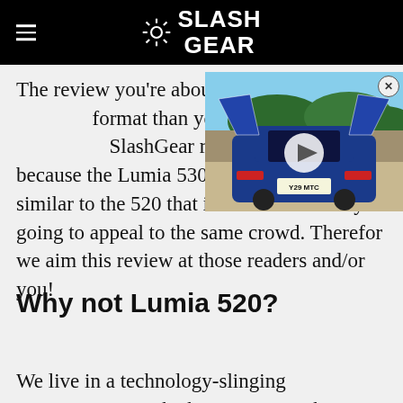SlashGear
[Figure (photo): A blue supercar (McLaren) with dihedral doors open, photographed from behind in an outdoor setting with trees and sky. A video play button overlay is visible.]
The review you're about to read is in a different format than you might be used to from other SlashGear reviews. This is because the Lumia 530 is so extremely similar to the 520 that it's almost certainly going to appeal to the same crowd. Therefor we aim this review at those readers and/or you!
Why not Lumia 520?
We live in a technology-slinging environment in which a new smartphone must be made every year in a line from